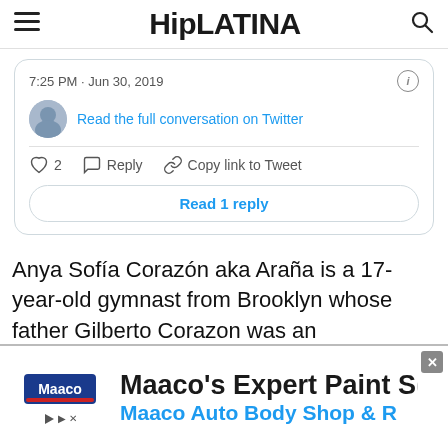HipLATINA
[Figure (screenshot): Embedded tweet card showing timestamp 7:25 PM · Jun 30, 2019, a profile avatar, a link 'Read the full conversation on Twitter', like (2), reply, and copy link to tweet actions, and a 'Read 1 reply' button]
Anya Sofía Corazón aka Araña is a 17-year-old gymnast from Brooklyn whose father Gilberto Corazon was an investigative reporter. Gilberto
[Figure (other): Maaco advertisement banner showing Maaco logo, 'Maaco's Expert Paint S[ervice]' and 'Maaco Auto Body Shop & R[epair]' with a close button]